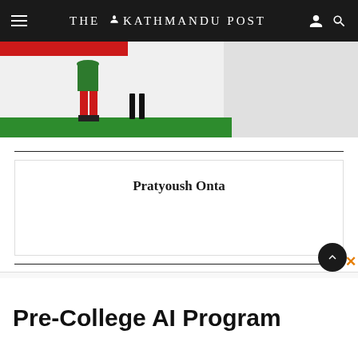THE KATHMANDU POST
[Figure (photo): Cricket scene with player in red and green outfit near black stumps on a green pitch, with red accent bar at top]
Pratyoush Onta
[Figure (screenshot): Advertisement area for Pre-College AI Program]
Pre-College AI Program